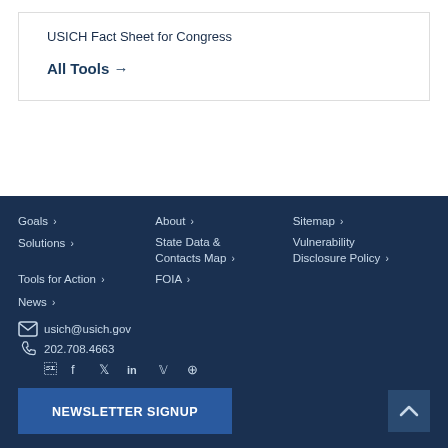USICH Fact Sheet for Congress
All Tools →
Goals > Solutions > Tools for Action > News > About > State Data & Contacts Map > FOIA > Sitemap > Vulnerability Disclosure Policy > usich@usich.gov 202.708.4663 NEWSLETTER SIGNUP